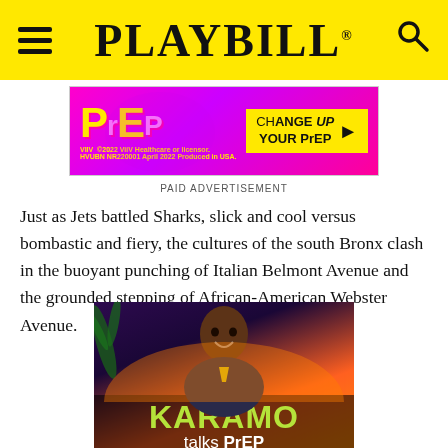PLAYBILL
[Figure (advertisement): PrEP advertisement banner with magenta/purple background showing PrEP logo in yellow and 'CHANGE UP YOUR PrEP' text in yellow box. ViiV Healthcare branding. 2022.]
PAID ADVERTISEMENT
Just as Jets battled Sharks, slick and cool versus bombastic and fiery, the cultures of the south Bronx clash in the buoyant punching of Italian Belmont Avenue and the grounded stepping of African-American Webster Avenue.
[Figure (advertisement): Karamo talks PrEP advertisement showing a smiling bald Black man against a purple/sunset background with green KARAMO text and 'talks PrEP' subtitle in white.]